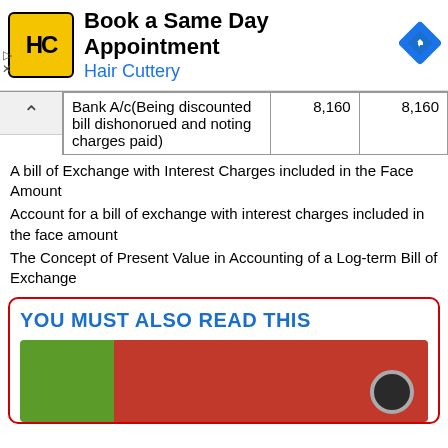[Figure (other): Hair Cuttery advertisement banner: Book a Same Day Appointment]
| Bank A/c(Being discounted bill dishonorued and noting charges paid) | 8,160 | 8,160 |
A bill of Exchange with Interest Charges included in the Face Amount
Account for a bill of exchange with interest charges included in the face amount
The Concept of Present Value in Accounting of a Log-term Bill of Exchange
YOU MUST ALSO READ THIS
[Figure (photo): Red binder/folder with green plant on left side, promotional image]